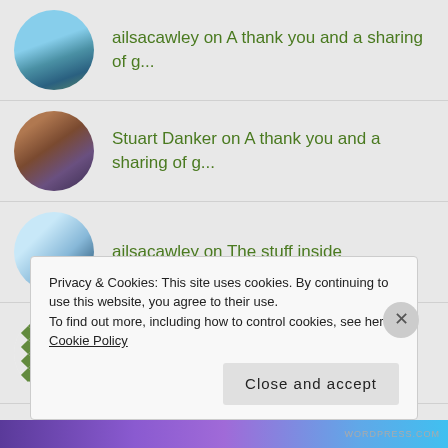ailsacawley on A thank you and a sharing of g...
Stuart Danker on A thank you and a sharing of g...
ailsacawley on The stuff inside
Madeleine Kennedy. on The stuff inside
ailsacawley on The stuff inside
Privacy & Cookies: This site uses cookies. By continuing to use this website, you agree to their use.
To find out more, including how to control cookies, see here: Cookie Policy
Close and accept